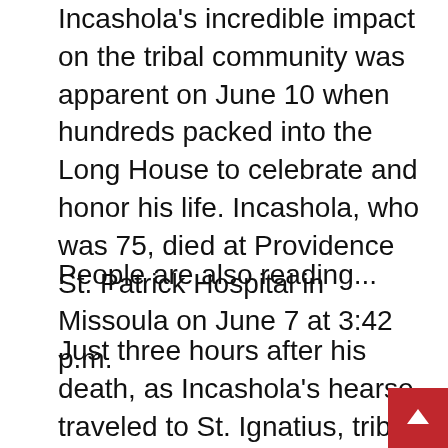Incashola's incredible impact on the tribal community was apparent on June 10 when hundreds packed into the Long House to celebrate and honor his life. Incashola, who was 75, died at Providence St. Patrick Hospital in Missoula on June 7 at 3:42 p.m.
People are also reading...
Just three hours after his death, as Incashola's hearse traveled to St. Ignatius, tribal